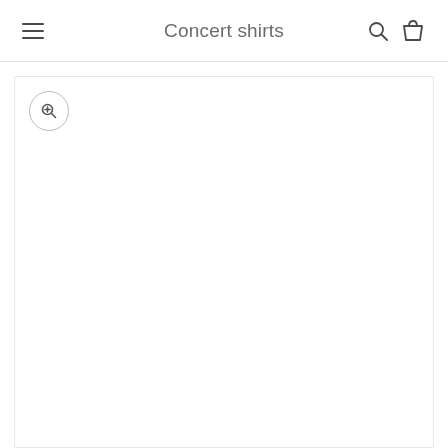Concert shirts
[Figure (screenshot): E-commerce product page screenshot showing a navigation bar with hamburger menu, 'Concert shirts' title, search icon, and shopping bag icon. Below is a white product image area with a circular zoom/magnify button in the top-left corner.]